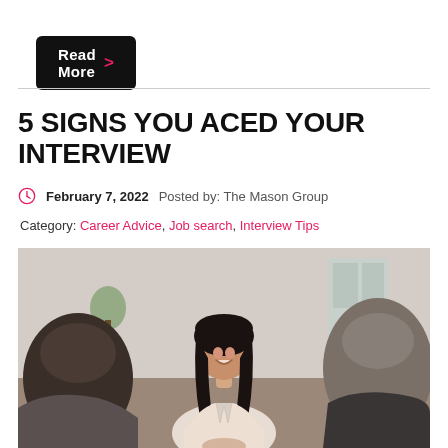Read More >
5 SIGNS YOU ACED YOUR INTERVIEW
February 7, 2022   Posted by: The Mason Group
Category: Career Advice, Job search, Interview Tips
[Figure (photo): A smiling young woman with long dark hair in a white blouse appearing to shake hands during a job interview, with two interviewers seen from behind on either side of her, in an office/lobby setting.]